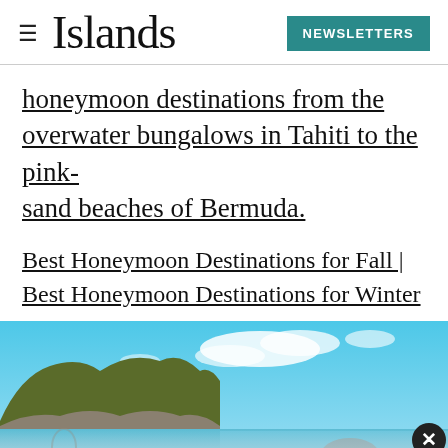Islands | NEWSLETTERS
honeymoon destinations from the overwater bungalows in Tahiti to the pink-sand beaches of Bermuda.
Best Honeymoon Destinations for Fall | Best Honeymoon Destinations for Winter
[Figure (photo): Scenic coastal photo showing a rocky island with dense green vegetation, bright blue sky with clouds, turquoise clear water with rocks in the foreground, and a faded overlay at the bottom showing a table setting.]